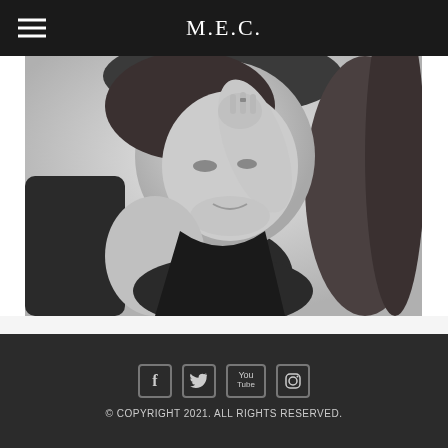M.E.C.
[Figure (photo): Black and white portrait photograph of a woman with long dark hair, wearing a black top, hand raised near her chin, smiling slightly.]
© COPYRIGHT 2021. ALL RIGHTS RESERVED.